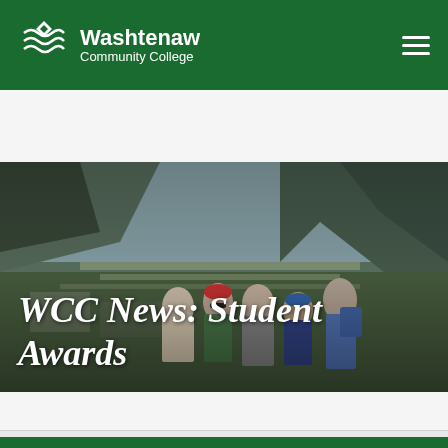Washtenaw Community College
Search WCC
[Figure (photo): Students posing at Machu Picchu ruins with mountains in background]
WCC News: Student Awards
Home | News